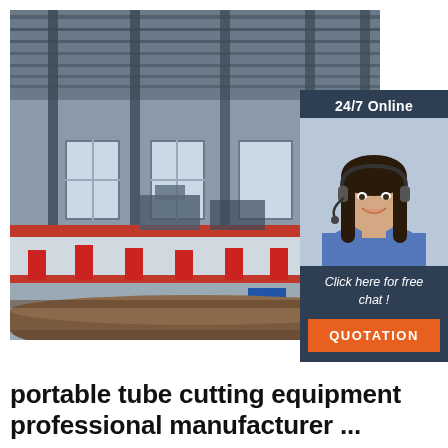[Figure (photo): Large industrial factory floor showing CNC tube cutting machinery with red components, steel beams ceiling, and large windows, with a partially visible pipe in the foreground]
[Figure (infographic): 24/7 Online chat widget overlay on the factory image showing a smiling female customer service representative with a headset, with 'Click here for free chat!' text and an orange QUOTATION button]
portable tube cutting equipment professional manufacturer ...